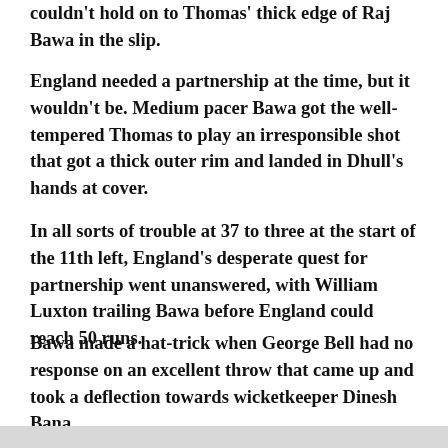couldn't hold on to Thomas' thick edge of Raj Bawa in the slip.
England needed a partnership at the time, but it wouldn't be. Medium pacer Bawa got the well-tempered Thomas to play an irresponsible shot that got a thick outer rim and landed in Dhull's hands at cover.
In all sorts of trouble at 37 to three at the start of the 11th left, England's desperate quest for partnership went unanswered, with William Luxton trailing Bawa before England could reach 50 runs.
Bawa made a hat-trick when George Bell had no response on an excellent throw that came up and took a deflection towards wicketkeeper Dinesh Bana.